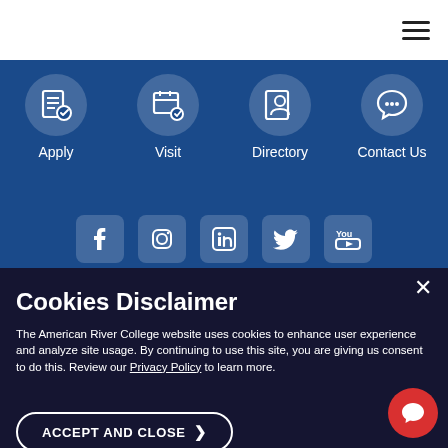Navigation bar with hamburger menu
[Figure (screenshot): Blue navigation bar with four icon buttons: Apply, Visit, Directory, Contact Us]
[Figure (screenshot): Social media icons row: Facebook, Instagram, LinkedIn, Twitter, YouTube]
Cookies Disclaimer
The American River College website uses cookies to enhance user experience and analyze site usage. By continuing to use this site, you are giving us consent to do this. Review our Privacy Policy to learn more.
ACCEPT AND CLOSE